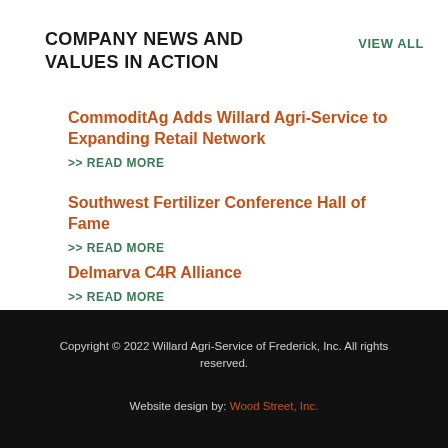COMPANY NEWS AND VALUES IN ACTION
VIEW ALL
CommoditAg Adds Willard Agri-Service to Expanding Retail Network
>> READ MORE
Southwest Fertilizer Conference Hall of Fame
>> READ MORE
Delmarva C4R Alliance
>> READ MORE
Copyright © 2022 Willard Agri-Service of Frederick, Inc. All rights reserved.
Website design by: Wood Street, Inc.